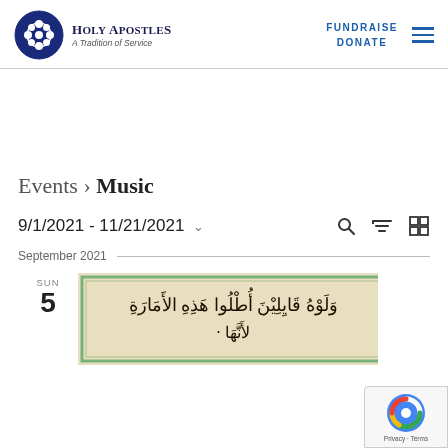Holy Apostles – A Tradition of Service | FUNDRAISE | DONATE
Events › Music
9/1/2021 - 11/21/2021
September 2021
SUN 5
[Figure (photo): Arabic manuscript page with calligraphy text on aged parchment with green border]